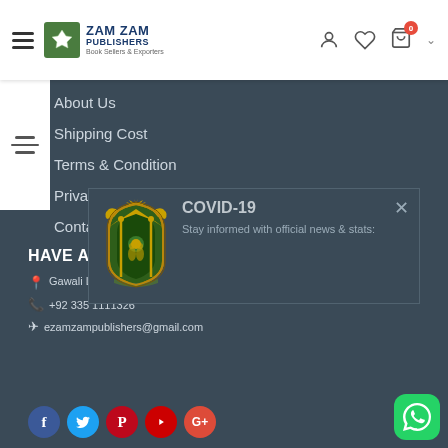Zam Zam Publishers - Book Sellers & Exporters
About Us
Shipping Cost
Terms & Condition
Privacy Policy
Contact Us
HAVE A QUESTION?
Gawali Lane 5, Near Muqaddas Masjid, Urdu Bazar, Karachi
+92 335 1111326
ezamzampublishers@gmail.com
[Figure (infographic): COVID-19 modal overlay with South Africa coat of arms logo, title COVID-19, text Stay informed with official news & stats, and close button]
[Figure (logo): Social media icons: Facebook, Twitter, Pinterest, YouTube, Google+]
[Figure (other): WhatsApp floating button (green rounded square) in bottom right corner]